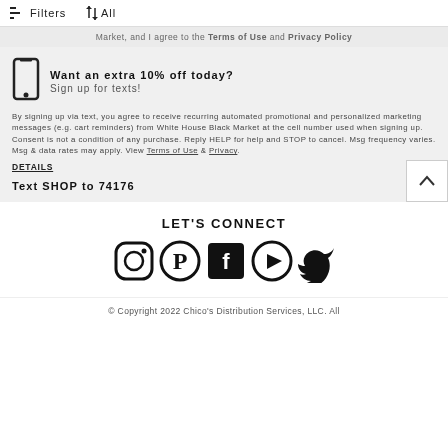Filters  ↑↓ All
Market, and I agree to the Terms of Use and Privacy Policy
Want an extra 10% off today?
Sign up for texts!
By signing up via text, you agree to receive recurring automated promotional and personalized marketing messages (e.g. cart reminders) from White House Black Market at the cell number used when signing up. Consent is not a condition of any purchase. Reply HELP for help and STOP to cancel. Msg frequency varies. Msg & data rates may apply. View Terms of Use & Privacy.
DETAILS
Text SHOP to 74176
LET'S CONNECT
[Figure (illustration): Social media icons: Instagram, Pinterest, Facebook, YouTube, Twitter]
© Copyright 2022 Chico's Distribution Services, LLC. All